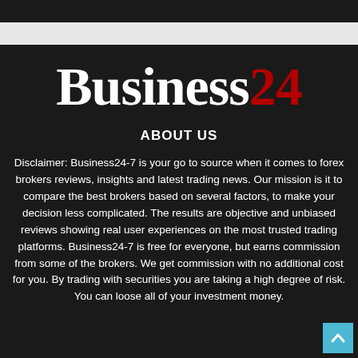[Figure (logo): Business24 logo — white serif 'Business' text followed by red '24' text on dark background]
ABOUT US
Disclaimer: Business24-7 is your go to source when it comes to forex brokers reviews, insights and latest trading news. Our mission is it to compare the best brokers based on several factors, to make your decision less complicated. The results are objective and unbiased reviews showing real user experiences on the most trusted trading platforms. Business24-7 is free for everyone, but earns commission from some of the brokers. We get commission with no additional cost for you. By trading with securities you are taking a high degree of risk. You can loose all of your investment money.